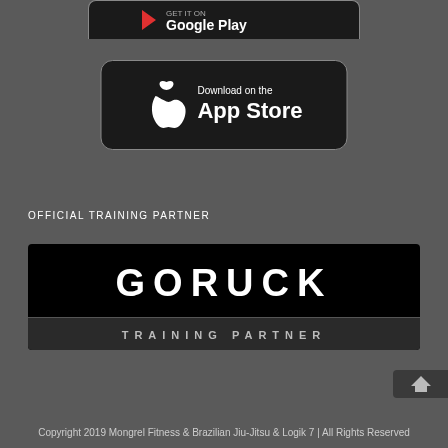[Figure (logo): Google Play store download button - partial, cropped at top]
[Figure (logo): Download on the App Store button with Apple logo, black rounded rectangle with white text]
OFFICIAL TRAINING PARTNER
[Figure (logo): GORUCK Training Partner logo - black rectangular badge with large white GORUCK text and TRAINING PARTNER below in grey bar]
Copyright 2019 Mongrel Fitness & Brazilian Jiu-Jitsu & Logik 7 | All Rights Reserved